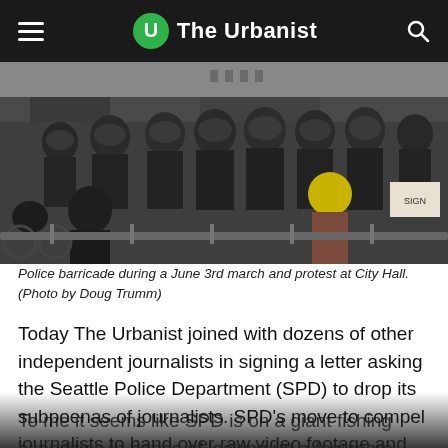The Urbanist
[Figure (photo): Police officers in riot gear forming a barricade, facing protesters during a June 3rd march and protest at City Hall.]
Police barricade during a June 3rd march and protest at City Hall. (Photo by Doug Trumm)
Today The Urbanist joined with dozens of other independent journalists in signing a letter asking the Seattle Police Department (SPD) to drop its subpoenas of journalists. SPD's move to compel journalists to hand over raw video footage and unpublished notes imperils our right to a free press.
To me it seems like SPD is on a giant fishing expedition in hopes of locking up a few more protesters and